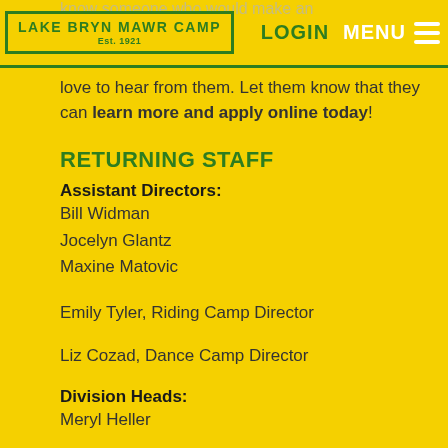Lake Bryn Mawr Camp Est. 1921 | LOGIN | MENU
love to hear from them. Let them know that they can learn more and apply online today!
RETURNING STAFF
Assistant Directors:
Bill Widman
Jocelyn Glantz
Maxine Matovic
Emily Tyler, Riding Camp Director
Liz Cozad, Dance Camp Director
Division Heads:
Meryl Heller